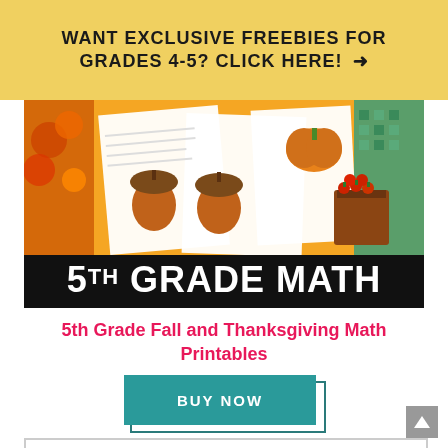WANT EXCLUSIVE FREEBIES FOR GRADES 4-5? CLICK HERE! →
[Figure (illustration): Product image showing 5th Grade Math fall/Thanksgiving themed worksheets with acorns, apple baskets, pumpkins on colorful autumn background. Black banner at bottom reads '5TH GRADE MATH' in large white bold text.]
5th Grade Fall and Thanksgiving Math Printables
BUY NOW